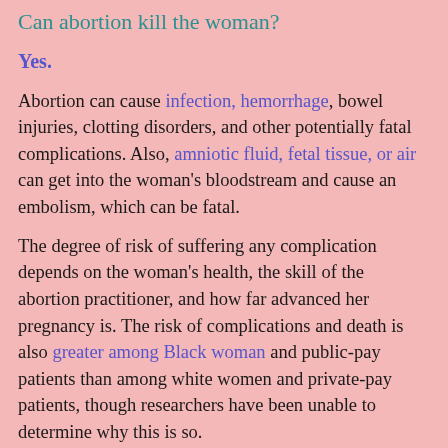Can abortion kill the woman?
Yes.
Abortion can cause infection, hemorrhage, bowel injuries, clotting disorders, and other potentially fatal complications. Also, amniotic fluid, fetal tissue, or air can get into the woman's bloodstream and cause an embolism, which can be fatal.
The degree of risk of suffering any complication depends on the woman's health, the skill of the abortion practitioner, and how far advanced her pregnancy is. The risk of complications and death is also greater among Black woman and public-pay patients than among white women and private-pay patients, though researchers have been unable to determine why this is so.
The risk of death is widely touted to be less with abortion than with birth. This comparison is based on taking known abortion deaths -- detected mostly via statistical samples sent by state vital records offices to the National Center for